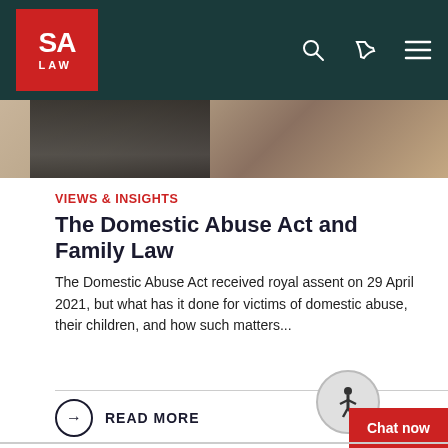SA LAW — navigation header with logo, search, phone, and menu icons
[Figure (photo): Cropped photo strip showing a laptop keyboard and wooden surface background]
VIEWS & INSIGHTS
The Domestic Abuse Act and Family Law
The Domestic Abuse Act received royal assent on 29 April 2021, but what has it done for victims of domestic abuse, their children, and how such matters...
→ READ MORE
This website uses cookies to help manage your site experience. If you continue browsing the site, you are giving implied consent to the use of cookies on this website. See our cookie policy for details
→ ACCEPT AND CLOSE